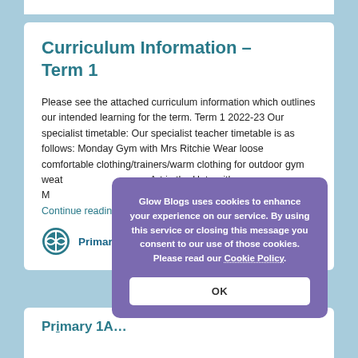Curriculum Information – Term 1
Please see the attached curriculum information which outlines our intended learning for the term. Term 1 2022-23 Our specialist timetable: Our specialist teacher timetable is as follows: Monday Gym with Mrs Ritchie Wear loose comfortable clothing/trainers/warm clothing for outdoor gym wear, Tuesday Art in the Huts with Mrs Smart, young reception or
Continue reading…
Primary 1A
Glow Blogs uses cookies to enhance your experience on our service. By using this service or closing this message you consent to our use of those cookies. Please read our Cookie Policy.
OK